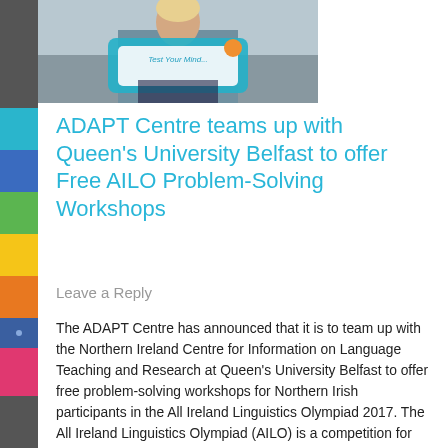[Figure (photo): A person holding a teal/blue 'Test Your Mind' sign or frame, visible from shoulders up; cropped at top of page.]
ADAPT Centre teams up with Queen's University Belfast to offer Free AILO Problem-Solving Workshops
Leave a Reply
The ADAPT Centre has announced that it is to team up with the Northern Ireland Centre for Information on Language Teaching and Research at Queen's University Belfast to offer free problem-solving workshops for Northern Irish participants in the All Ireland Linguistics Olympiad 2017. The All Ireland Linguistics Olympiad (AILO) is a competition for post-primary pupils… Read More